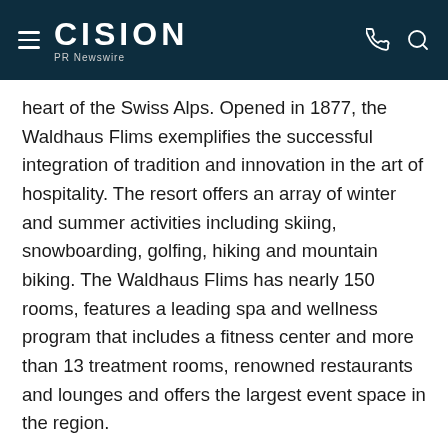CISION PR Newswire
heart of the Swiss Alps. Opened in 1877, the Waldhaus Flims exemplifies the successful integration of tradition and innovation in the art of hospitality. The resort offers an array of winter and summer activities including skiing, snowboarding, golfing, hiking and mountain biking. The Waldhaus Flims has nearly 150 rooms, features a leading spa and wellness program that includes a fitness center and more than 13 treatment rooms, renowned restaurants and lounges and offers the largest event space in the region.
In 2017, the Waldhaus Flims was named Best Hotel Spa in Switzerland at the 2017 European Health a…